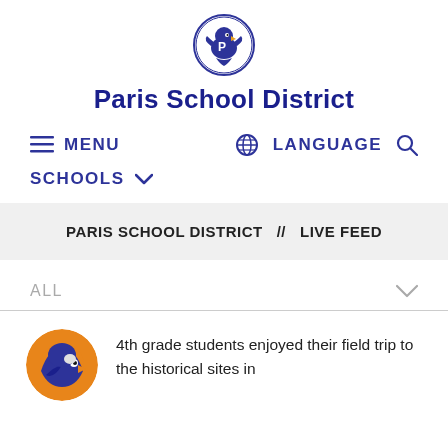[Figure (logo): Paris School District eagle mascot logo in circular badge, blue and gold colors]
Paris School District
MENU   LANGUAGE   [search]
SCHOOLS
PARIS SCHOOL DISTRICT  //  LIVE FEED
ALL
[Figure (logo): Paris School District eagle mascot circular logo on orange background]
4th grade students enjoyed their field trip to the historical sites in